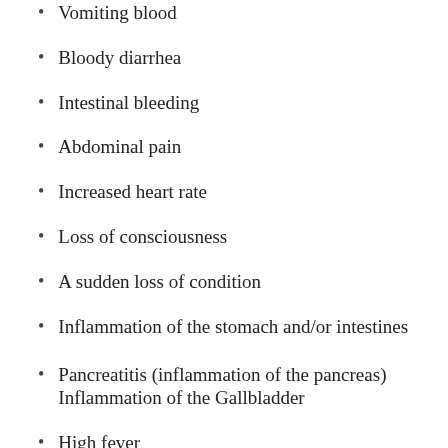Vomiting blood
Bloody diarrhea
Intestinal bleeding
Abdominal pain
Increased heart rate
Loss of consciousness
A sudden loss of condition
Inflammation of the stomach and/or intestines
Pancreatitis (inflammation of the pancreas)
Inflammation of the Gallbladder
High fever